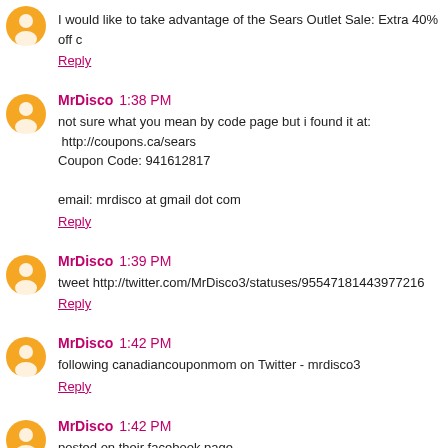I would like to take advantage of the Sears Outlet Sale: Extra 40% off c...
Reply
MrDisco  1:38 PM
not sure what you mean by code page but i found it at:
 http://coupons.ca/sears
Coupon Code: 941612817

email: mrdisco at gmail dot com
Reply
MrDisco  1:39 PM
tweet http://twitter.com/MrDisco3/statuses/95547181443977216
Reply
MrDisco  1:42 PM
following canadiancouponmom on Twitter - mrdisco3
Reply
MrDisco  1:42 PM
posted on their facebook page http://www.facebook.com/MrDisco1/post...